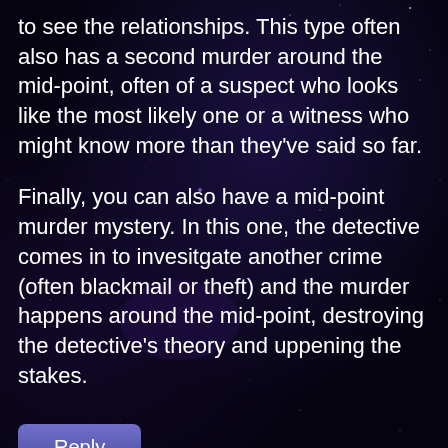to see the relationships. This type often also has a second murder around the mid-point, often of a suspect who looks like the most likely one or a witness who might know more than they've said so far.
Finally, you can also have a mid-point murder mystery. In this one, the detective comes in to invesitgate another crime (often blackmail or theft) and the murder happens around the mid-point, destroying the detective's theory and uppening the stakes.
[Figure (other): Reply button UI element]